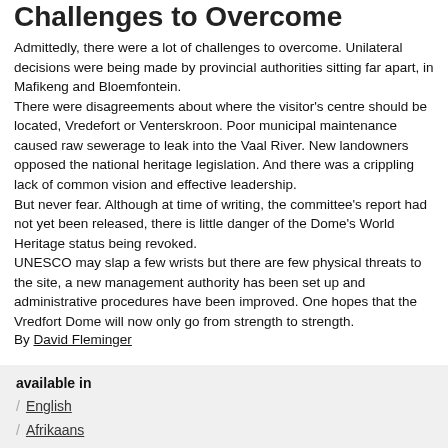Challenges to Overcome
Admittedly, there were a lot of challenges to overcome. Unilateral decisions were being made by provincial authorities sitting far apart, in Mafikeng and Bloemfontein. There were disagreements about where the visitor's centre should be located, Vredefort or Venterskroon. Poor municipal maintenance caused raw sewerage to leak into the Vaal River. New landowners opposed the national heritage legislation. And there was a crippling lack of common vision and effective leadership. But never fear. Although at time of writing, the committee's report had not yet been released, there is little danger of the Dome's World Heritage status being revoked. UNESCO may slap a few wrists but there are few physical threats to the site, a new management authority has been set up and administrative procedures have been improved. One hopes that the Vredfort Dome will now only go from strength to strength.
By David Fleminger
available in
English
Afrikaans
isiXhosa
isiZulu